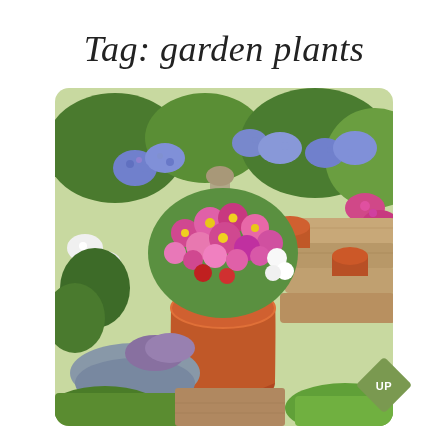Tag: garden plants
[Figure (photo): A colorful garden with terracotta pots filled with pink, magenta, red, and white cosmos flowers in the foreground. Behind are stone steps with more terracotta pots containing purple agapanthus and other flowering plants. A stone statue is visible in the background. Green lawn and mixed border plants surround the steps. A green diamond-shaped badge with 'UP' text is in the lower right corner.]